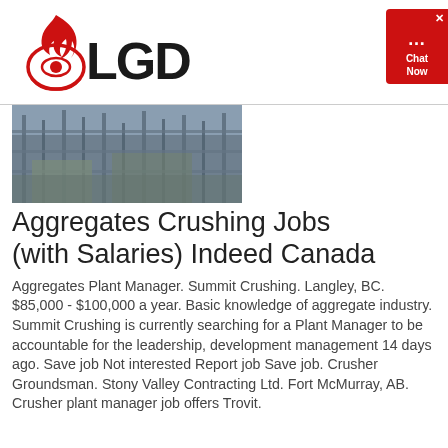LGD
[Figure (photo): Construction/aggregates site with scaffolding and machinery]
Aggregates Crushing Jobs (with Salaries) Indeed Canada
Aggregates Plant Manager. Summit Crushing. Langley, BC. $85,000 - $100,000 a year. Basic knowledge of aggregate industry. Summit Crushing is currently searching for a Plant Manager to be accountable for the leadership, development management 14 days ago. Save job Not interested Report job Save job. Crusher Groundsman. Stony Valley Contracting Ltd. Fort McMurray, AB. Crusher plant manager job offers Trovit.